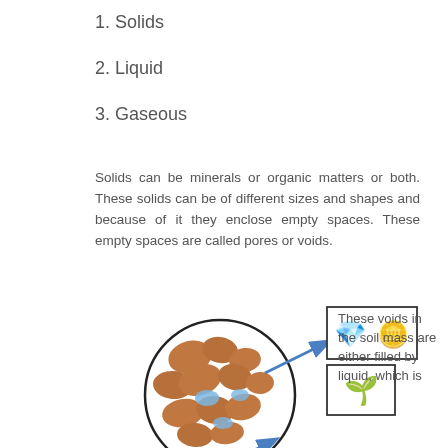1. Solids
2. Liquid
3. Gaseous
Solids can be minerals or organic matters or both. These solids can be of different sizes and shapes and because of it they enclose empty spaces. These empty spaces are called pores or voids.
[Figure (illustration): Diagram showing soil particles in a circle with arrows pointing to boxes containing a diamond and coin emoji (minerals) and a seedling emoji (organic matter), with text explaining that voids in the soil mass are either filled by liquid, which is...]
These voids in the soil mass are either filled by liquid, which is